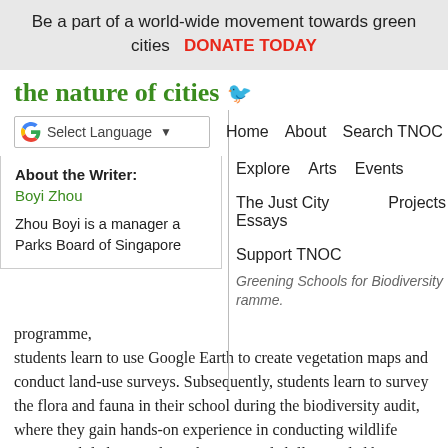Be a part of a world-wide movement towards green cities   DONATE TODAY
the nature of cities
Select Language | Home About Search TNOC Explore Arts Events The Just City Essays Projects Support TNOC Greening Schools for Biodiversity ramme.
About the Writer:
Boyi Zhou
Zhou Boyi is a manager a... Parks Board of Singapore...
programme, students learn to use Google Earth to create vegetation maps and conduct land-use surveys. Subsequently, students learn to survey the flora and fauna in their school during the biodiversity audit, where they gain hands-on experience in conducting wildlife surveys while honing their observational skills. Guided by information collected